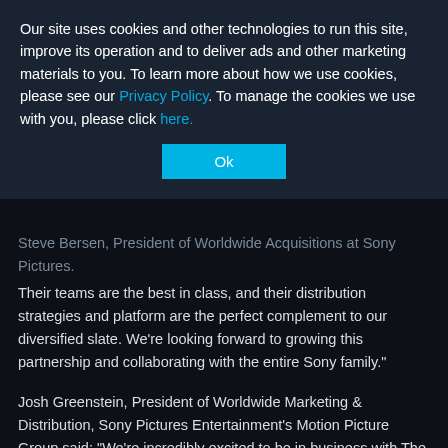Our site uses cookies and other technologies to run this site, improve its operation and to deliver ads and other marketing materials to you. To learn more about how we use cookies, please see our Privacy Policy. To manage the cookies we use with you, please click here.
Ok
Steve Bersen, President of Worldwide Acquisitions at Sony Pictures.
Their teams are the best in class, and their distribution strategies and platform are the perfect complement to our diversified slate. We're looking forward to growing this partnership and collaborating with the entire Sony family."
Josh Greenstein, President of Worldwide Marketing & Distribution, Sony Pictures Entertainment's Motion Picture Group said: "We're incredibly excited to be in business with The H Collective. Nic and his team are working with some of the most exciting and innovative filmmakers today. We look forward to sharing their unique stories with the world, creating dynamic campaigns, and distributing them around the globe."